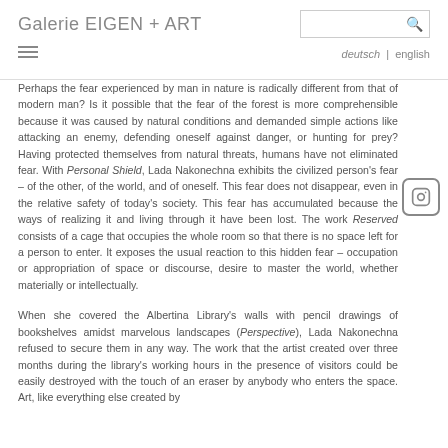Galerie EIGEN + ART
Perhaps the fear experienced by man in nature is radically different from that of modern man? Is it possible that the fear of the forest is more comprehensible because it was caused by natural conditions and demanded simple actions like attacking an enemy, defending oneself against danger, or hunting for prey? Having protected themselves from natural threats, humans have not eliminated fear. With Personal Shield, Lada Nakonechna exhibits the civilized person's fear – of the other, of the world, and of oneself. This fear does not disappear, even in the relative safety of today's society. This fear has accumulated because the ways of realizing it and living through it have been lost. The work Reserved consists of a cage that occupies the whole room so that there is no space left for a person to enter. It exposes the usual reaction to this hidden fear – occupation or appropriation of space or discourse, desire to master the world, whether materially or intellectually.
When she covered the Albertina Library's walls with pencil drawings of bookshelves amidst marvelous landscapes (Perspective), Lada Nakonechna refused to secure them in any way. The work that the artist created over three months during the library's working hours in the presence of visitors could be easily destroyed with the touch of an eraser by anybody who enters the space. Art, like everything else created by